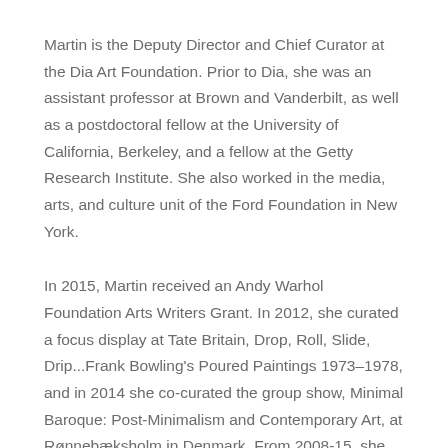Martin is the Deputy Director and Chief Curator at the Dia Art Foundation. Prior to Dia, she was an assistant professor at Brown and Vanderbilt, as well as a postdoctoral fellow at the University of California, Berkeley, and a fellow at the Getty Research Institute. She also worked in the media, arts, and culture unit of the Ford Foundation in New York.
In 2015, Martin received an Andy Warhol Foundation Arts Writers Grant. In 2012, she curated a focus display at Tate Britain, Drop, Roll, Slide, Drip...Frank Bowling's Poured Paintings 1973–1978, and in 2014 she co-curated the group show, Minimal Baroque: Post-Minimalism and Contemporary Art, at Rønnebæksholm in Denmark. From 2008-15, she co-led a research project on the Anglo-American art critic Lawrence Alloway at the Getty Research Institute and is co-editor...